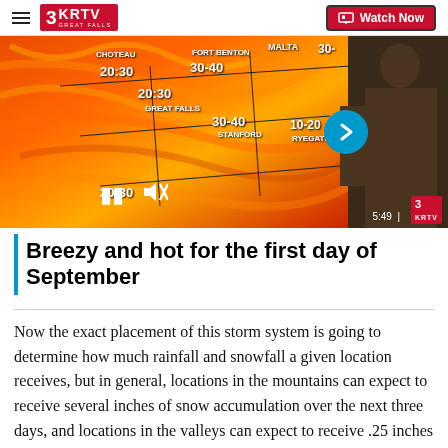3KRTV Great Falls | Watch Now
[Figure (screenshot): Weather map showing wind speeds with values 20-30, 30-40, 20-30, 30-40, 10-20, 20-30 overlaid on a red/orange heat-map style weather visualization of Montana. A meteorologist stands to the right pointing at the map. Video player controls visible including pause and mute buttons. Timestamp 5:49 and KRTV logo in lower right. Next arrow button on right side.]
Breezy and hot for the first day of September
Now the exact placement of this storm system is going to determine how much rainfall and snowfall a given location receives, but in general, locations in the mountains can expect to receive several inches of snow accumulation over the next three days, and locations in the valleys can expect to receive .25 inches to an inch